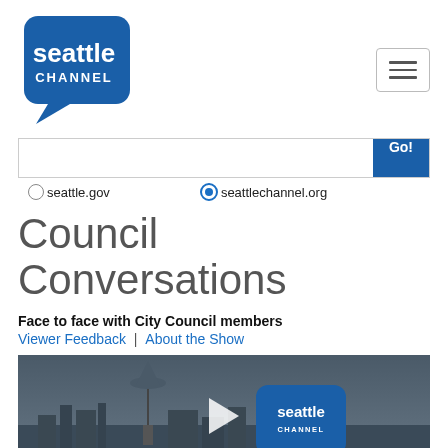[Figure (logo): Seattle Channel logo — blue speech bubble with 'seattle CHANNEL' text in white]
[Figure (screenshot): Hamburger menu icon (three horizontal lines) in a rounded rectangle border]
[Figure (screenshot): Search bar with white input field and blue 'Go!' button]
seattle.gov   seattlechannel.org (radio buttons, seattlechannel.org selected)
Council Conversations
Face to face with City Council members
Viewer Feedback | About the Show
[Figure (screenshot): Video thumbnail showing Seattle skyline with Space Needle at dusk/night, Seattle Channel logo overlay, and a play button in the center]